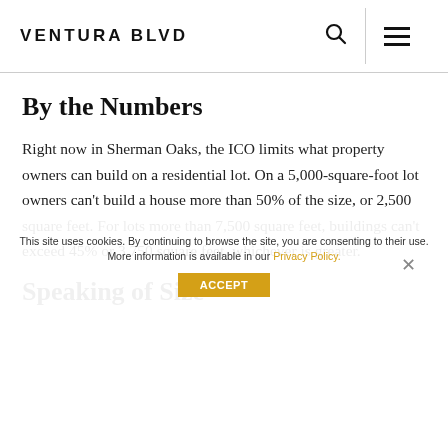VENTURA BLVD
By the Numbers
Right now in Sherman Oaks, the ICO limits what property owners can build on a residential lot. On a 5,000-square-foot lot owners can't build a house more than 50% of the size, or 2,500 square feet. For lots more than 7,500 square feet, buildings can't exceed 45% or 3,750 square feet, whichever is greater.
Speaking of Size
This site uses cookies. By continuing to browse the site, you are consenting to their use. More information is available in our Privacy Policy.